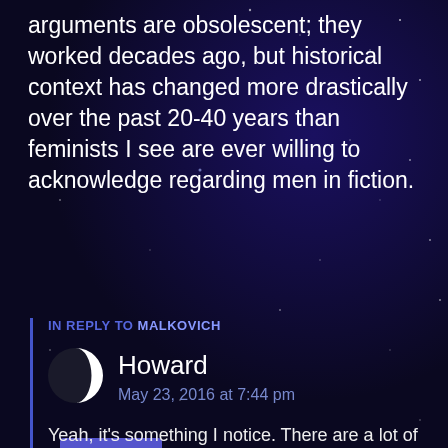arguments are obsolescent; they worked decades ago, but historical context has changed more drastically over the past 20-40 years than feminists I see are ever willing to acknowledge regarding men in fiction.
Reply
IN REPLY TO MALKOVICH
Howard
May 23, 2016 at 7:44 pm
Yeah, it's something I notice. There are a lot of great stories out there. These days especially